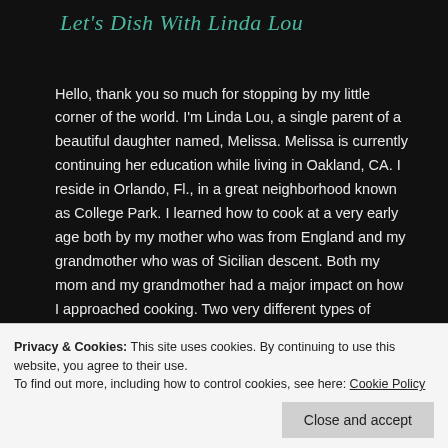Let's Dish With Linda Lou
Hello, thank you so much for stopping by my little corner of the world. I'm Linda Lou, a single parent of a beautiful daughter named, Melissa. Melissa is currently continuing her education while living in Oakland, CA. I reside in Orlando, Fl., in a great neighborhood known as College Park. I learned how to cook at a very early age both by my mother who was from England and my grandmother who was of Sicilian descent. Both my mom and my grandmother had a major impact on how I approached cooking. Two very different types of cuisine yet both shine through in my recipes.
Privacy & Cookies: This site uses cookies. By continuing to use this website, you agree to their use.
To find out more, including how to control cookies, see here: Cookie Policy
Close and accept